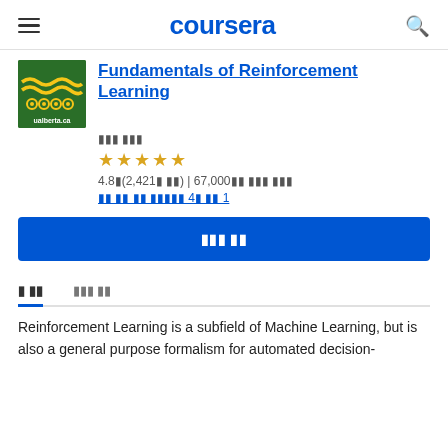coursera
Fundamentals of Reinforcement Learning
4.8점(2,421점 평점) | 67,000명 이상의 학습자
강화 학습 전문화의 4개 코스 중 1
무료로 등록
정 보
강사진 정보
Reinforcement Learning is a subfield of Machine Learning, but is also a general purpose formalism for automated decision-